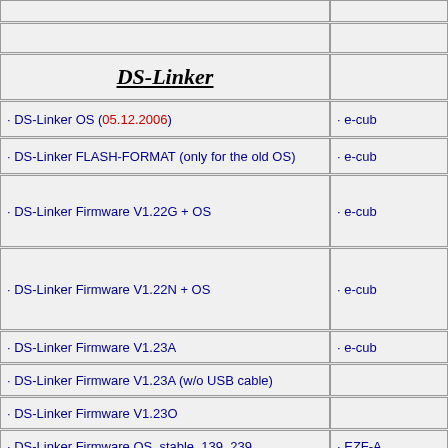(row 0 - partially visible)
(row 1 - partially visible)
DS-Linker
· DS-Linker OS (05.12.2006)
· DS-Linker FLASH-FORMAT (only for the old OS)
· DS-Linker Firmware V1.22G + OS
· DS-Linker Firmware V1.22N + OS
· DS-Linker Firmware V1.23A
· DS-Linker Firmware V1.23A (w/o USB cable)
· DS-Linker Firmware V1.23O
· DS-Linker Firmware OS  stable  139  239
· DS-Linker Firmware OS  stable  139  242
· DS-Linker Firmware V1.40 and Menue 2.43
· DS-Linker Firmware V1.45 and Menue 2.53
DS-Linker Menue 2.55
· Moonshell V1.6 for DS-Linker